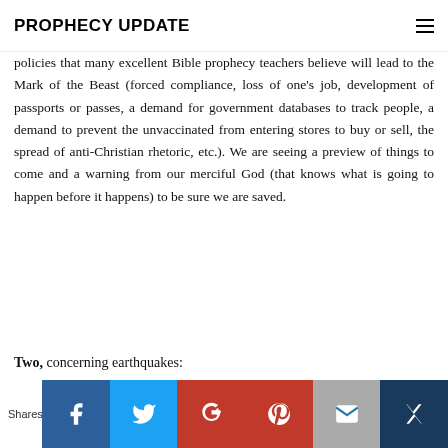PROPHECY UPDATE
policies that many excellent Bible prophecy teachers believe will lead to the Mark of the Beast (forced compliance, loss of one's job, development of passports or passes, a demand for government databases to track people, a demand to prevent the unvaccinated from entering stores to buy or sell, the spread of anti-Christian rhetoric, etc.). We are seeing a preview of things to come and a warning from our merciful God (that knows what is going to happen before it happens) to be sure we are saved.
Two, concerning earthquakes:
[Figure (infographic): Social share bar with Facebook, Twitter, Google+, Pinterest, Email, and bookmark icons]